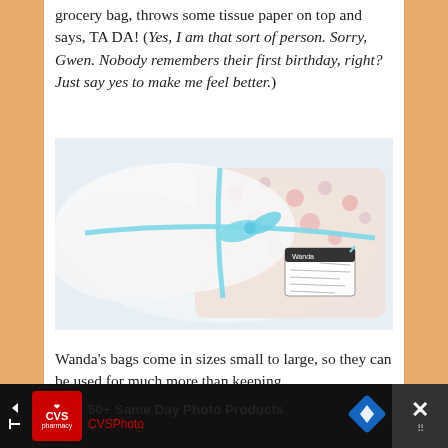grocery bag, throws some tissue paper on top and says, TA DA! (Yes, I am that sort of person. Sorry, Gwen. Nobody remembers their first birthday, right? Just say yes to make me feel better.)
[Figure (photo): A wrapped gift or fabric item tied with a light blue ribbon/bow, with a small tag attached. The item appears to be floral-patterned fabric wrapped in white tissue.]
Wanda's bags come in sizes small to large, so they can be used for much more than keeping
[Figure (screenshot): Advertisement bar: CVS Pharmacy ad reading '50+ Same Day Photo Products' with CVS logo, navigation arrows, blue diamond logo, and a close button with X.]